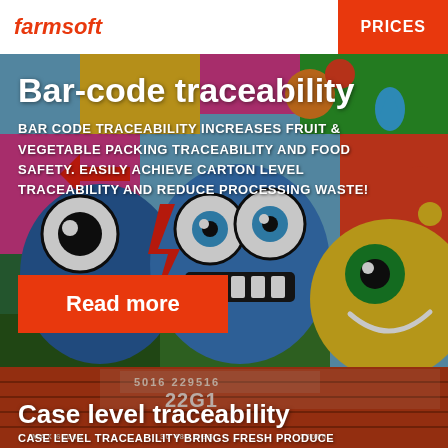farmsoft
PRICES
Bar-code traceability
BAR CODE TRACEABILITY INCREASES FRUIT & VEGETABLE PACKING TRACEABILITY AND FOOD SAFETY. EASILY ACHIEVE CARTON LEVEL TRACEABILITY AND REDUCE PROCESSING WASTE!
[Figure (photo): Colorful graffiti wall art with cartoon monster faces]
Read more
[Figure (photo): Shipping container with case/cargo identification markings including numbers 5016, 229516, 22G1, MAX 60068, 30 480 KGS, 22000]
Case level traceability
CASE LEVEL TRACEABILITY BRINGS FRESH PRODUCE